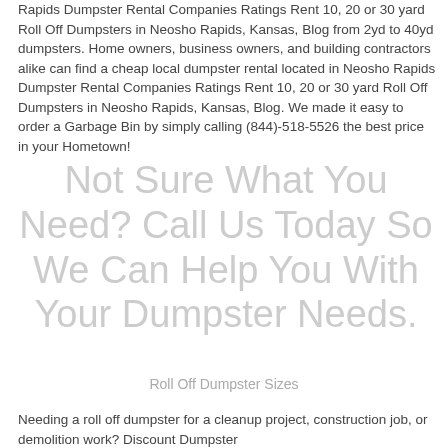Rapids Dumpster Rental Companies Ratings Rent 10, 20 or 30 yard Roll Off Dumpsters in Neosho Rapids, Kansas, Blog from 2yd to 40yd dumpsters. Home owners, business owners, and building contractors alike can find a cheap local dumpster rental located in Neosho Rapids Dumpster Rental Companies Ratings Rent 10, 20 or 30 yard Roll Off Dumpsters in Neosho Rapids, Kansas, Blog. We made it easy to order a Garbage Bin by simply calling (844)-518-5526 the best price in your Hometown!
Not Sure What You Need? Call Us Today So We Can Help You With Your Dumpster Needs.
Roll Off Dumpster Sizes
Needing a roll off dumpster for a cleanup project, construction job, or demolition work? Discount Dumpster